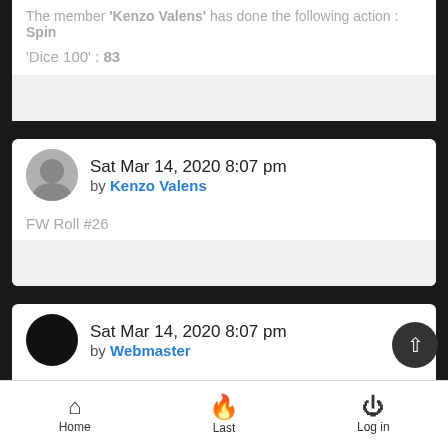The member 'Kenzo Valens' has done the following action : Spin
'Dice 100' : 83
Sat Mar 14, 2020 8:07 pm by Kenzo Valens
FW Roll #26
Sat Mar 14, 2020 8:07 pm by Webmaster
The member 'Kenzo Valens' has done the following action : Spin
Home  Last  Log in